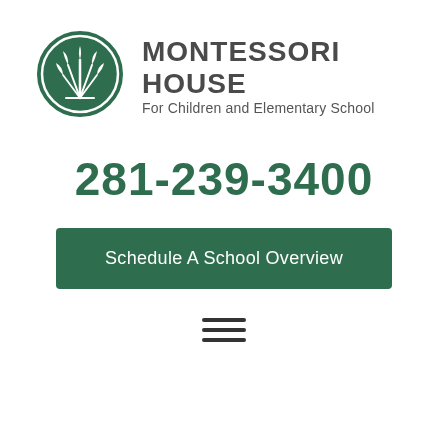[Figure (logo): Montessori House circular logo with white plant/grass illustration on dark green background]
MONTESSORI HOUSE
For Children and Elementary School
281-239-3400
Schedule A School Overview
[Figure (other): Hamburger menu icon (three horizontal lines)]